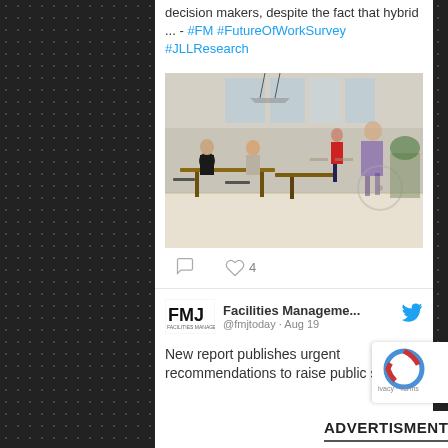decision makers, despite the fact that hybrid ... - #FM #FutureOfWorkSurvey #JLLResearch
[Figure (photo): Office/co-working space with people sitting at tables and others walking through, modern interior with natural light]
❤ 4
Facilities Manageme... @fmjtoday · Aug 19
New report publishes urgent recommendations to raise public sector
ADVERTISMENT